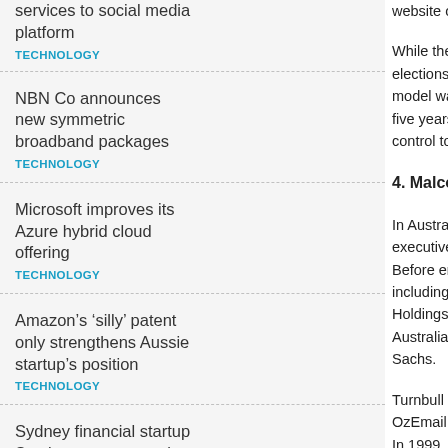services to social media platform
TECHNOLOGY
NBN Co announces new symmetric broadband packages
TECHNOLOGY
Microsoft improves its Azure hybrid cloud offering
TECHNOLOGY
Amazon’s ‘silly’ patent only strengthens Aussie startup’s position
TECHNOLOGY
Sydney financial startup Stockspot eyes spot in Singapore showcase
TECHNOLOGY
website of his ne
While the new pa elections, it grew model was mirror five years after its control to his dep
4. Malcolm Turn
In Australia, the r executive turned Before entering i including as the g Holdings, the cof Australian Repub Sachs.
Turnbull became OzEmail in 1994, In 1999, at the pe telco MCI WorldC
In 2004, Turnbull elected as the loc